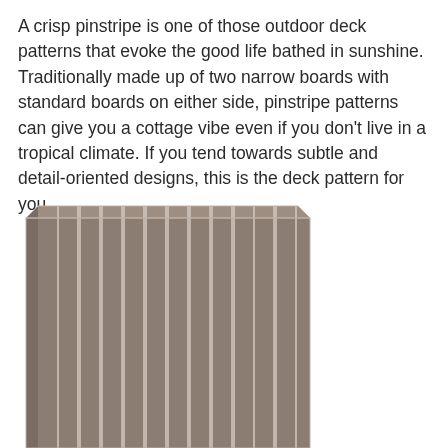A crisp pinstripe is one of those outdoor deck patterns that evoke the good life bathed in sunshine. Traditionally made up of two narrow boards with standard boards on either side, pinstripe patterns can give you a cottage vibe even if you don't live in a tropical climate. If you tend towards subtle and detail-oriented designs, this is the deck pattern for you.
[Figure (illustration): A top-down perspective illustration of a wooden deck with a pinstripe pattern. The deck shows vertical boards in a warm taupe/brown color with thin white/light lines (gaps) between them, creating the pinstripe effect. The deck is shown in slight perspective with a beveled top edge visible.]